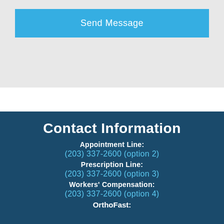Send Message
Contact Information
Appointment Line:
(203) 337-2600 (option 2)
Prescription Line:
(203) 337-2600 (option 3)
Workers' Compensation:
(203) 337-2600 (option 4)
OrthoFast: